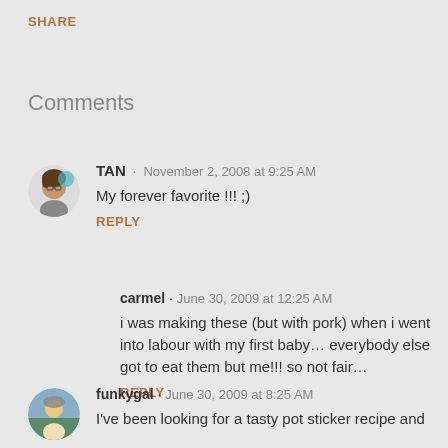SHARE
Comments
TAN · November 2, 2008 at 9:25 AM
My forever favorite !!! ;)
REPLY
carmel · June 30, 2009 at 12:25 AM
i was making these (but with pork) when i went into labour with my first baby... everybody else got to eat them but me!!! so not fair...
REPLY
funkygal · June 30, 2009 at 8:25 AM
I've been looking for a tasty pot sticker recipe and